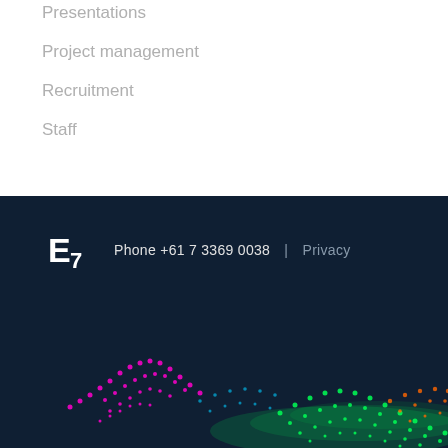Presentations
Project management
Recruitment
Staff
[Figure (logo): E7 logo in white on dark navy background]
Phone +61 7 3369 0038  |  Privacy
[Figure (illustration): Abstract colorful wave/terrain visualization with pink, green, and orange dots on dark navy background]